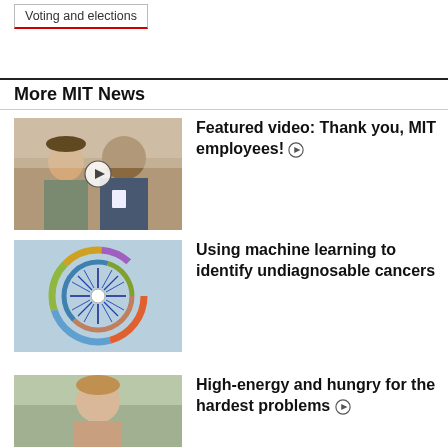Voting and elections
More MIT News
Featured video: Thank you, MIT employees!
[Figure (photo): Two men smiling together, one wearing a cap and glasses, the other wearing a name badge; video play button overlay]
Using machine learning to identify undiagnosable cancers
[Figure (illustration): Circular diagram with colorful arcs and spiky blue pattern in the center on a light blue background]
High-energy and hungry for the hardest problems
[Figure (photo): Person with short hair in an outdoor/indoor setting]